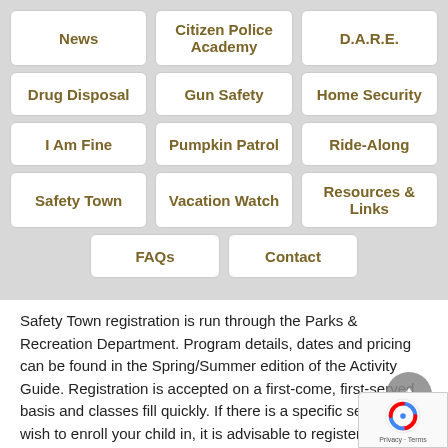News
Citizen Police Academy
D.A.R.E.
Drug Disposal
Gun Safety
Home Security
I Am Fine
Pumpkin Patrol
Ride-Along
Safety Town
Vacation Watch
Resources & Links
FAQs
Contact
Safety Town registration is run through the Parks & Recreation Department. Program details, dates and pricing can be found in the Spring/Summer edition of the Activity Guide. Registration is accepted on a first-come, first-served basis and classes fill quickly. If there is a specific session you wish to enroll your child in, it is advisable to register as soon as possible to receive priority placement.
If you have questions about registration, contact the Parks & Recreation Department, at 614-583-5300 or complete the